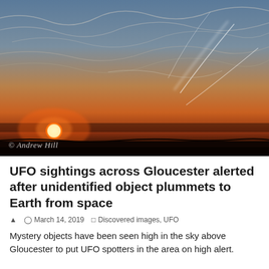[Figure (photo): A dramatic sunset photograph showing a dark horizon with a bright orange-red sun setting, contrail streaks across a blue-grey sky with wispy clouds. Watermark reads '© Andrew Hill' in the lower left corner.]
UFO sightings across Gloucester alerted after unidentified object plummets to Earth from space
March 14, 2019   Discovered images, UFO
Mystery objects have been seen high in the sky above Gloucester to put UFO spotters in the area on high alert.